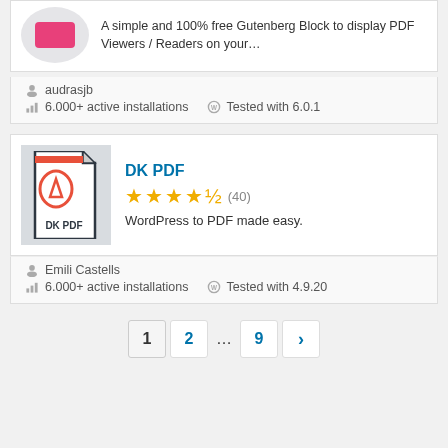A simple and 100% free Gutenberg Block to display PDF Viewers / Readers on your…
audrasjb
6.000+ active installations   Tested with 6.0.1
DK PDF
★★★★½ (40)
WordPress to PDF made easy.
Emili Castells
6.000+ active installations   Tested with 4.9.20
1 2 … 9 ›